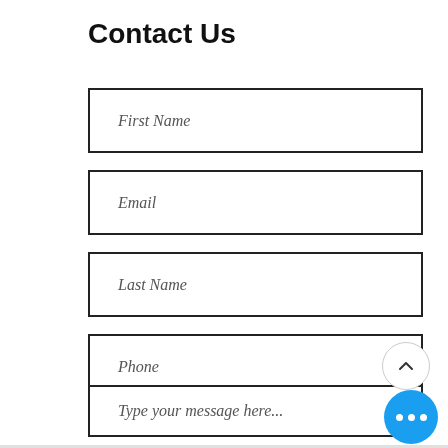Contact Us
First Name
Email
Last Name
Phone
Type your message here...